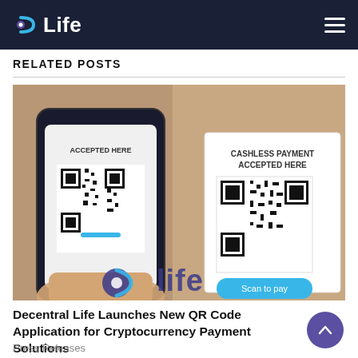DLife
RELATED POSTS
[Figure (photo): A hand holding a smartphone scanning a QR code, with a 'CASHLESS PAYMENT ACCEPTED HERE' sign and a 'Scan to pay' button visible. The DLife logo watermark appears at the bottom of the image.]
Decentral Life Launches New QR Code Application for Cryptocurrency Payment Solutions
Press Releases